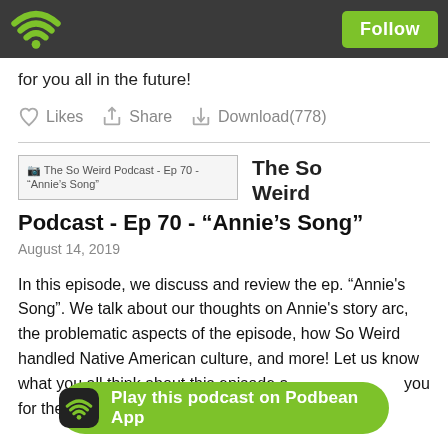Podbean logo and Follow button
for you all in the future!
Likes  Share  Download(778)
The So Weird Podcast - Ep 70 - “Annie’s Song”
August 14, 2019
In this episode, we discuss and review the ep. “Annie's Song”. We talk about our thoughts on Annie's story arc, the problematic aspects of the episode, how So Weird handled Native American culture, and more! Let us know what you all think about this episode and you for the support